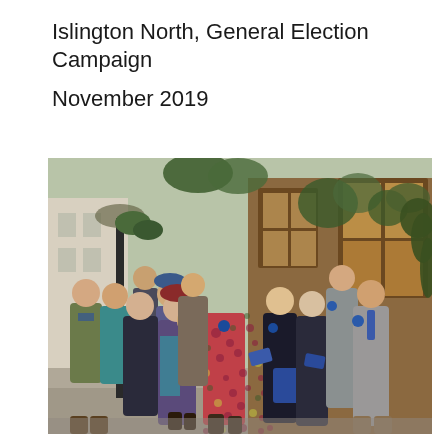Islington North, General Election Campaign

November 2019
[Figure (photo): Group photo of approximately 12 Conservative Party campaign volunteers and candidates posing on a street in Islington North during the November 2019 General Election campaign. The group stands in front of a pub or shopfront with hanging baskets and ivy. Several people are wearing blue rosettes and carrying blue campaign leaflets/bags. They are dressed in autumn/winter clothing.]